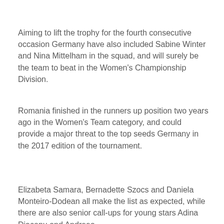Aiming to lift the trophy for the fourth consecutive occasion Germany have also included Sabine Winter and Nina Mittelham in the squad, and will surely be the team to beat in the Women's Championship Division.
Romania finished in the runners up position two years ago in the Women's Team category, and could provide a major threat to the top seeds Germany in the 2017 edition of the tournament.
Elizabeta Samara, Bernadette Szocs and Daniela Monteiro-Dodean all make the list as expected, while there are also senior call-ups for young stars Adina Diaconu and Andreea D[partially obscured]
By clicking "Accept All Cookies", you agree to the storing of cookies on your device to enhance site navigation, analyze site usage, and assist in our marketing efforts.
Accept All Cookies